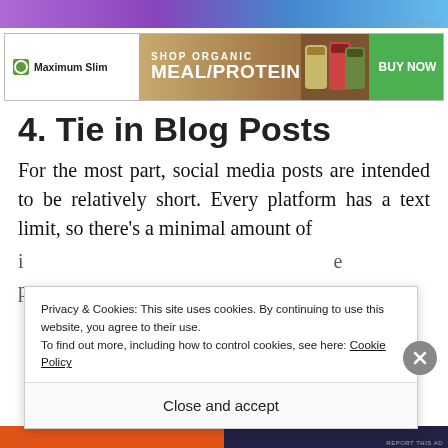[Figure (other): Top advertisement banner with purple/blue gradient and partial product imagery]
[Figure (other): Maximum Slim shop organic meal/protein advertisement banner with green buy now button]
4. Tie in Blog Posts
For the most part, social media posts are intended to be relatively short. Every platform has a text limit, so there's a minimal amount of
Privacy & Cookies: This site uses cookies. By continuing to use this website, you agree to their use.
To find out more, including how to control cookies, see here: Cookie Policy
Close and accept
[Figure (other): Bottom advertisement banner with orange and dark sections]